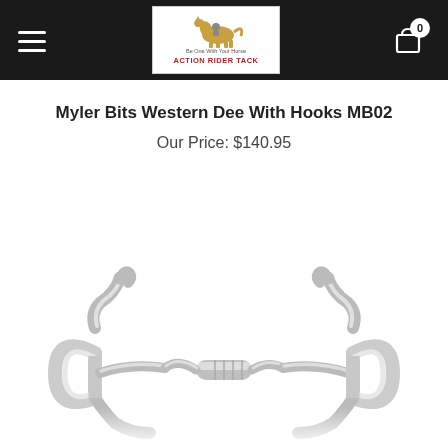Action Rider Tack — navigation header with hamburger menu and cart
Myler Bits Western Dee With Hooks MB02
Our Price: $140.95
[Figure (photo): Product photo of a stainless steel Myler Bits Western Dee With Hooks MB02 horse bit, showing D-ring cheeks with hooks and a jointed mouthpiece with a central barrel roller.]